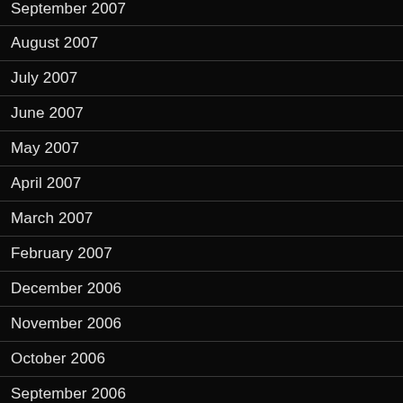September 2007
August 2007
July 2007
June 2007
May 2007
April 2007
March 2007
February 2007
December 2006
November 2006
October 2006
September 2006
March 2006